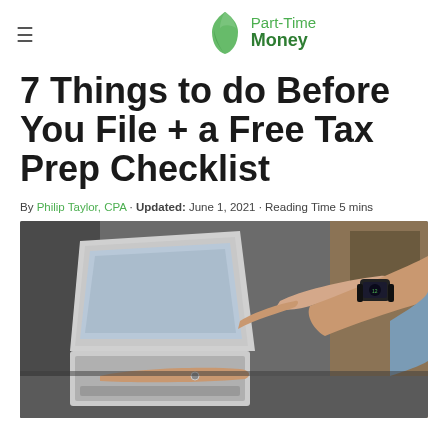Part-Time Money
7 Things to do Before You File + a Free Tax Prep Checklist
By Philip Taylor, CPA · Updated: June 1, 2021 · Reading Time 5 mins
[Figure (photo): Person pointing at a tablet/laptop screen with a smartwatch on their wrist, working at a desk]